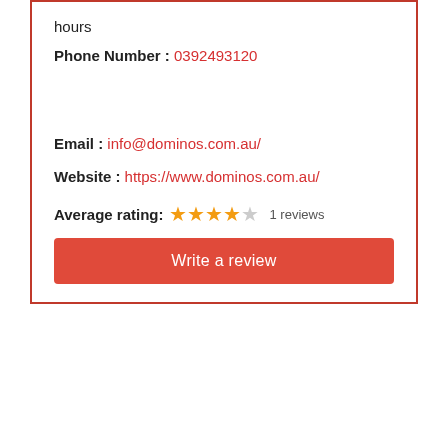hours
Phone Number : 0392493120
Email : info@dominos.com.au/
Website : https://www.dominos.com.au/
Average rating: ★★★★☆ 1 reviews
Write a review